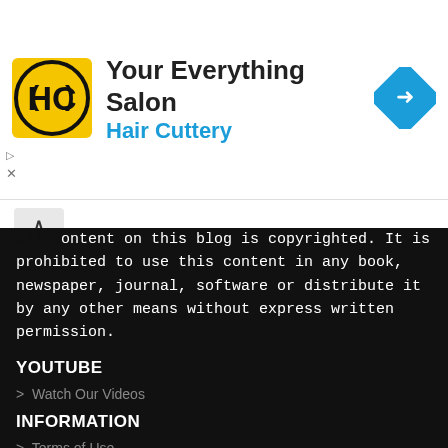[Figure (logo): Hair Cuttery logo - yellow/black square with HC letters]
Your Everything Salon
Hair Cuttery
[Figure (illustration): Blue diamond-shaped navigation arrow icon]
All content on this blog is copyrighted. It is prohibited to use this content in any book, newspaper, journal, software or distribute it by any other means without express written permission.
YOUTUBE
> Watch Our Videos
INFORMATION
> Terms of Use
> Privacy
FOLLOW US
[Figure (infographic): Social media icons: Facebook, Groups, Twitter, RSS, Instagram]